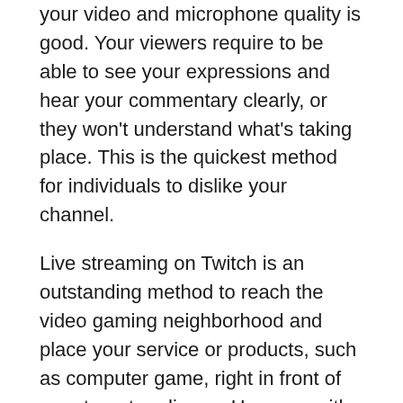your video and microphone quality is good. Your viewers require to be able to see your expressions and hear your commentary clearly, or they won't understand what's taking place. This is the quickest method for individuals to dislike your channel.
Live streaming on Twitch is an outstanding method to reach the video gaming neighborhood and place your service or products, such as computer game, right in front of your target audience. However with millions of Twitch banners, promoting your stream isn't as easy as it once was. Whether you're a brand or a casual gamer, it's a great idea to deal with Twitch streaming as a company. With that in mind, you ought to set concrete objectives that align with what you wish to accomplish.
It's important to stay active across multiple platforms